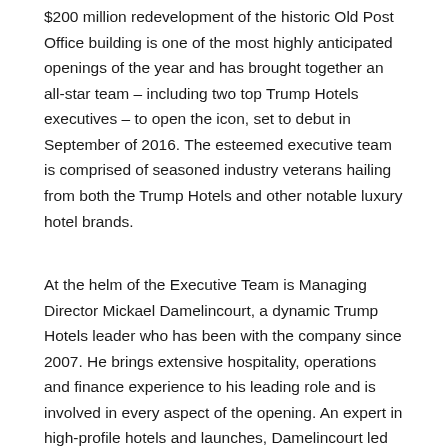$200 million redevelopment of the historic Old Post Office building is one of the most highly anticipated openings of the year and has brought together an all-star team – including two top Trump Hotels executives – to open the icon, set to debut in September of 2016. The esteemed executive team is comprised of seasoned industry veterans hailing from both the Trump Hotels and other notable luxury hotel brands.
At the helm of the Executive Team is Managing Director Mickael Damelincourt, a dynamic Trump Hotels leader who has been with the company since 2007. He brings extensive hospitality, operations and finance experience to his leading role and is involved in every aspect of the opening. An expert in high-profile hotels and launches, Damelincourt led the charge as opening General Manager of Trump International Hotel & Tower Toronto in 2012, which earned Forbes Five Stars. Prior to Toronto, he was the Executive Assistant Manager of